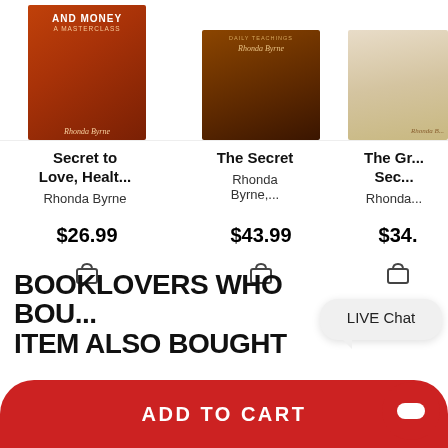[Figure (screenshot): E-commerce product listing page showing three books by Rhonda Byrne with prices, add-to-cart icons, a section heading, live chat bubble, and an Add to Cart button bar.]
Secret to Love, Healt...
Rhonda Byrne
The Secret
Rhonda Byrne,...
The Gr... Sec...
Rhonda...
$26.99
$43.99
$34.
BOOKLOVERS WHO BOU... ITEM ALSO BOUGHT
LIVE Chat
ADD TO CART